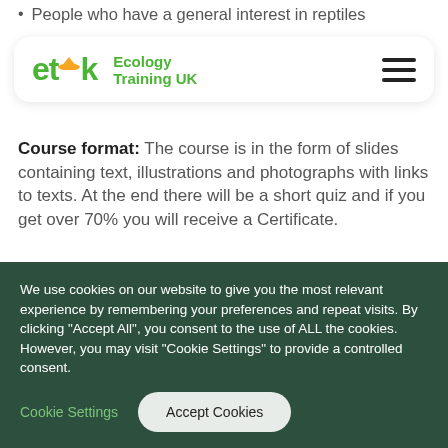People who have a general interest in reptiles
[Figure (logo): Ecology Training UK logo with hamburger menu icon]
Course format: The course is in the form of slides containing text, illustrations and photographs with links to texts. At the end there will be a short quiz and if you get over 70% you will receive a Certificate.
What students say about this course:
We use cookies on our website to give you the most relevant experience by remembering your preferences and repeat visits. By clicking "Accept All", you consent to the use of ALL the cookies. However, you may visit "Cookie Settings" to provide a controlled consent.